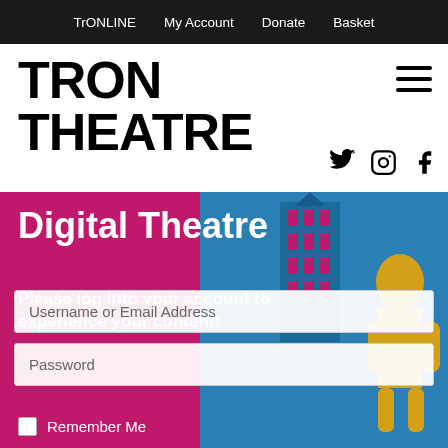TrONLINE   My Account   Donate   Basket
TRON THEATRE
[Figure (screenshot): Hamburger menu icon (three horizontal bars)]
[Figure (screenshot): Social media icons: Twitter bird, Instagram camera, Facebook f]
Digital Theatre
Please log into your account to experience your content:
[Figure (illustration): Background image of a blue and yellow illustrated building/tower with figure, overlaid on magenta/pink background]
Username or Email Address
Password
Remember Me